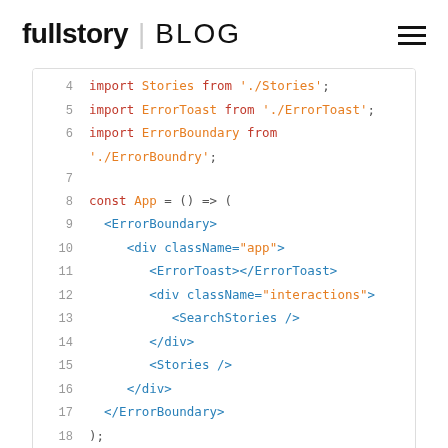fullstory | BLOG
[Figure (screenshot): Code snippet showing JavaScript/React code lines 4-20, with syntax highlighting. Lines show import statements, a const App arrow function with JSX returning ErrorBoundary, div, ErrorToast, SearchStories, Stories components, and an export default statement.]